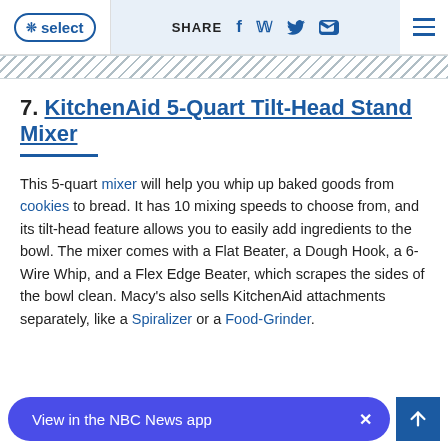NBC Select | SHARE [facebook] [twitter] [email] [menu]
7. KitchenAid 5-Quart Tilt-Head Stand Mixer
This 5-quart mixer will help you whip up baked goods from cookies to bread. It has 10 mixing speeds to choose from, and its tilt-head feature allows you to easily add ingredients to the bowl. The mixer comes with a Flat Beater, a Dough Hook, a 6-Wire Whip, and a Flex Edge Beater, which scrapes the sides of the bowl clean. Macy's also sells KitchenAid attachments separately, like a Spiralizer or a Food-Grinder.
View in the NBC News app  ×  [up arrow]